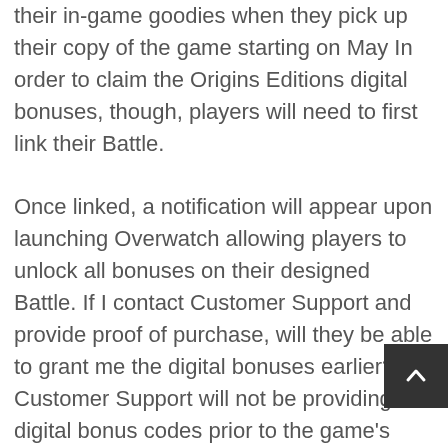preorder a physical copy Origins Edition. Fans won't their in-game goodies when they pick up their copy of the game starting on May In order to claim the Origins Editions digital bonuses, though, players will need to first link their Battle. Once linked, a notification will appear upon launching Overwatch allowing players to unlock all bonuses on their designed Battle. If I contact Customer Support and provide proof of purchase, will they be able to grant me the digital bonuses earlier? Customer Support will not be providing digital bonus codes prior to the game's launch to players who preordered physical copies of Origins Edition or pre-purchased digital copies through the PlayStation or Xbox online stores. When I will receive my Origins Edition skins in Overwatch? You are a champion of a bygone age